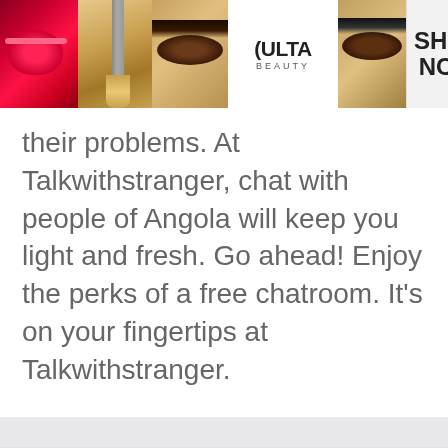[Figure (photo): Top banner advertisement for Ulta Beauty showing makeup images (lips, brush, eye, eyeliner close-ups) alongside the Ulta Beauty logo and 'SHOP NOW' call to action]
their problems. At Talkwithstranger, chat with people of Angola will keep you light and fresh. Go ahead! Enjoy the perks of a free chatroom. It's on your fingertips at Talkwithstranger.
[Figure (screenshot): Bottom advertisement for Women's Fashion | Shop Online | VENUS. Text: 'Shop the best in women's fashion, clothing, swimwear' URL: venus.com. Shows a thumbnail of the Venus website and a blue circular arrow button.]